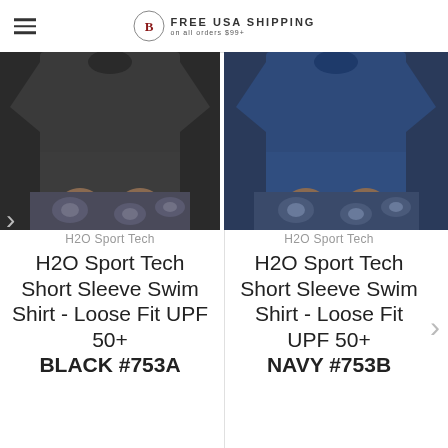FREE USA SHIPPING
[Figure (photo): Man wearing black H2O Sport Tech short sleeve swim shirt with floral swim shorts]
[Figure (photo): Man wearing navy H2O Sport Tech short sleeve swim shirt with floral swim shorts]
H2O Sport Tech
H2O Sport Tech
H2O Sport Tech Short Sleeve Swim Shirt - Loose Fit UPF 50+ BLACK #753A
H2O Sport Tech Short Sleeve Swim Shirt - Loose Fit UPF 50+ NAVY #753B